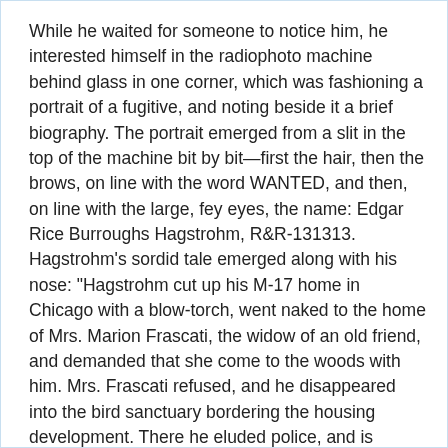While he waited for someone to notice him, he interested himself in the radiophoto machine behind glass in one corner, which was fashioning a portrait of a fugitive, and noting beside it a brief biography. The portrait emerged from a slit in the top of the machine bit by bit—first the hair, then the brows, on line with the word WANTED, and then, on line with the large, fey eyes, the name: Edgar Rice Burroughs Hagstrohm, R&R-131313. Hagstrohm's sordid tale emerged along with his nose: "Hagstrohm cut up his M-17 home in Chicago with a blow-torch, went naked to the home of Mrs. Marion Frascati, the widow of an old friend, and demanded that she come to the woods with him. Mrs. Frascati refused, and he disappeared into the bird sanctuary bordering the housing development. There he eluded police, and is believed to have made his escape dropping from a tree onto a passing freight—"
  "You!" said the desk sergeant. "Proteus!"